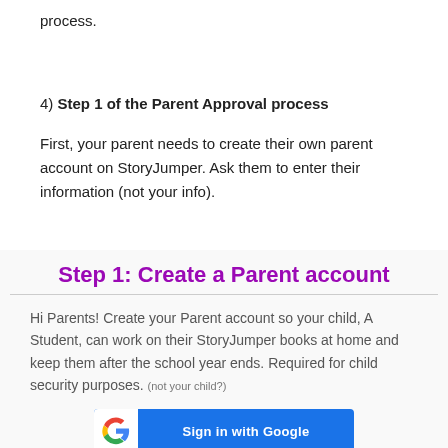process.
4) Step 1 of the Parent Approval process
First, your parent needs to create their own parent account on StoryJumper. Ask them to enter their information (not your info).
Step 1: Create a Parent account
Hi Parents! Create your Parent account so your child, A Student, can work on their StoryJumper books at home and keep them after the school year ends. Required for child security purposes. (not your child?)
[Figure (screenshot): Sign in with Google button, blue background with white Google G icon on left side]